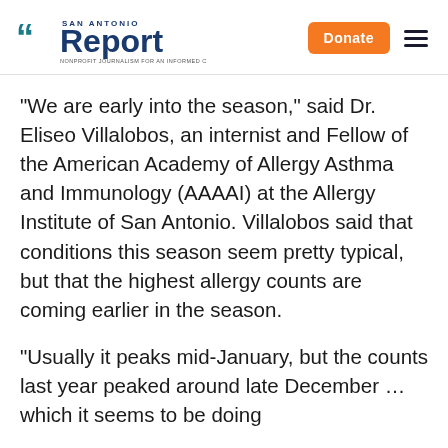San Antonio Report — Donate
“We are early into the season,” said Dr. Eliseo Villalobos, an internist and Fellow of the American Academy of Allergy Asthma and Immunology (AAAAI) at the Allergy Institute of San Antonio. Villalobos said that conditions this season seem pretty typical, but that the highest allergy counts are coming earlier in the season.
“Usually it peaks mid-January, but the counts last year peaked around late December … which it seems to be doing